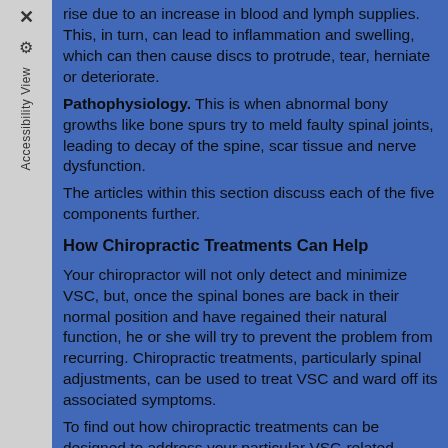rise due to an increase in blood and lymph supplies. This, in turn, can lead to inflammation and swelling, which can then cause discs to protrude, tear, herniate or deteriorate.
Pathophysiology. This is when abnormal bony growths like bone spurs try to meld faulty spinal joints, leading to decay of the spine, scar tissue and nerve dysfunction.
The articles within this section discuss each of the five components further.
How Chiropractic Treatments Can Help
Your chiropractor will not only detect and minimize VSC, but, once the spinal bones are back in their normal position and have regained their natural function, he or she will try to prevent the problem from recurring. Chiropractic treatments, particularly spinal adjustments, can be used to treat VSC and ward off its associated symptoms.
To find out how chiropractic treatments can be designed to address your particular VSC-related